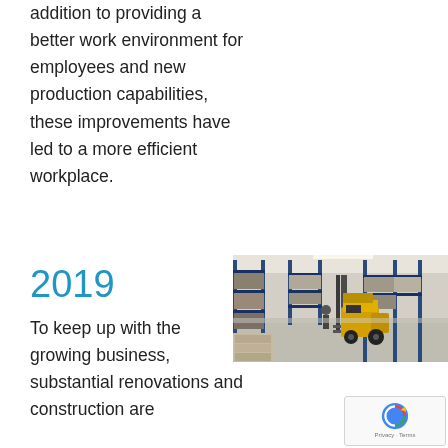addition to providing a better work environment for employees and new production capabilities, these improvements have led to a more efficient workplace.
2019
[Figure (photo): Interior of a warehouse with blue steel shelving stacked with products and a yellow forklift in the center aisle on a concrete floor.]
To keep up with the growing business, substantial renovations and construction are